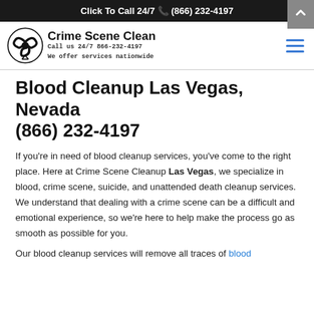Click To Call 24/7 📞 (866) 232-4197
[Figure (logo): Crime Scene Clean logo with biohazard symbol. Text: Crime Scene Clean, Call us 24/7 866-232-4197, We offer services nationwide]
Blood Cleanup Las Vegas, Nevada
(866) 232-4197
If you're in need of blood cleanup services, you've come to the right place. Here at Crime Scene Cleanup Las Vegas, we specialize in blood, crime scene, suicide, and unattended death cleanup services. We understand that dealing with a crime scene can be a difficult and emotional experience, so we're here to help make the process go as smooth as possible for you.
Our blood cleanup services will remove all traces of blood